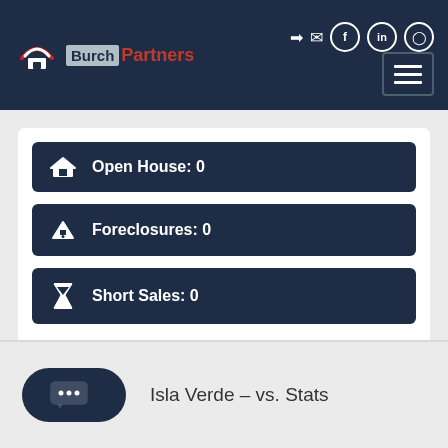Navigation bar with logo 'Partners' and social icons
Open House: 0
Foreclosures: 0
Short Sales: 0
Isla Verde - vs. Stats